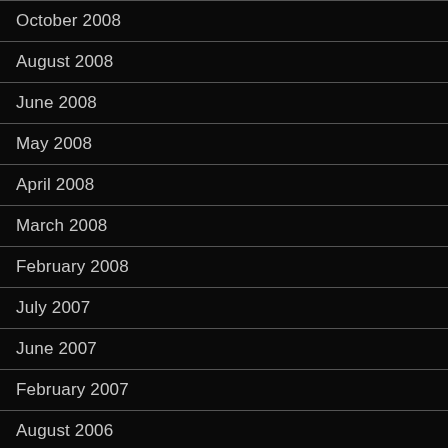October 2008
August 2008
June 2008
May 2008
April 2008
March 2008
February 2008
July 2007
June 2007
February 2007
August 2006
July 2006